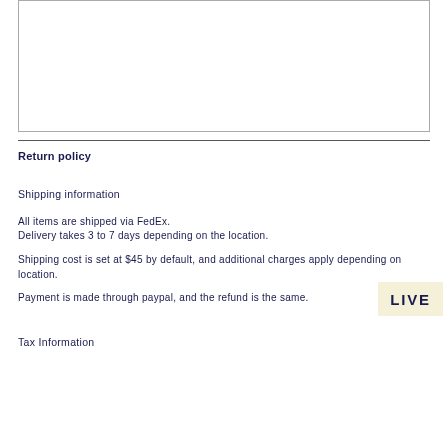[Figure (other): Empty bordered text input box]
Return policy
Shipping information
All items are shipped via FedEx.
Delivery takes 3 to 7 days depending on the location.
Shipping cost is set at $45 by default, and additional charges apply depending on location.
Payment is made through paypal, and the refund is the same.
[Figure (other): LIVE badge/watermark in beige background]
Tax Information